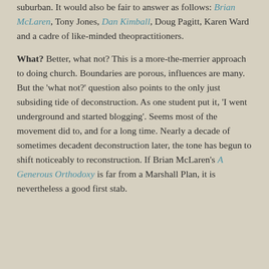suburban. It would also be fair to answer as follows: Brian McLaren, Tony Jones, Dan Kimball, Doug Pagitt, Karen Ward and a cadre of like-minded theopractitioners.
What? Better, what not? This is a more-the-merrier approach to doing church. Boundaries are porous, influences are many. But the 'what not?' question also points to the only just subsiding tide of deconstruction. As one student put it, 'I went underground and started blogging'. Seems most of the movement did to, and for a long time. Nearly a decade of sometimes decadent deconstruction later, the tone has begun to shift noticeably to reconstruction. If Brian McLaren's A Generous Orthodoxy is far from a Marshall Plan, it is nevertheless a good first stab.